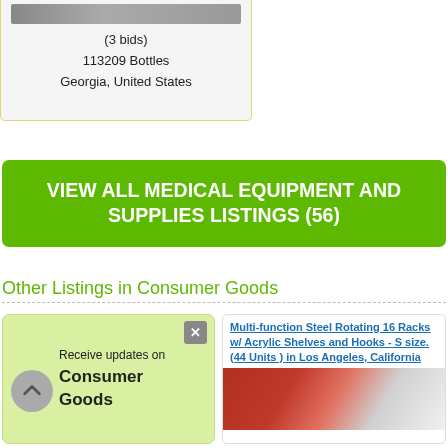(3 bids)
113209 Bottles
Georgia, United States
VIEW ALL MEDICAL EQUIPMENT AND SUPPLIES LISTINGS (56)
Other Listings in Consumer Goods
Receive updates on Consumer Goods
Multi-function Steel Rotating 16 Racks w/ Acrylic Shelves and Hooks - S size. (44 Units ) in Los Angeles, California